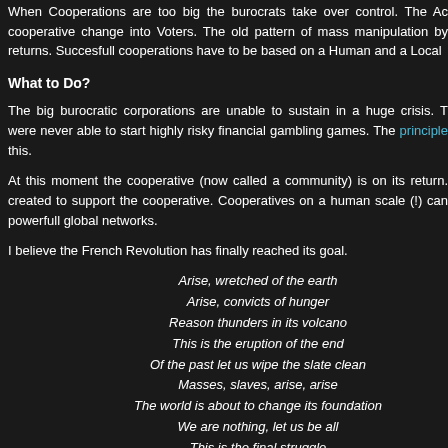When Cooperations are too big the burocrats take over control. The Ac cooperative change into Voters. The old pattern of mass manipulation by returns. Succesfull cooperations have to be based on a Human and a Local
What to Do?
The big burocratic corporations are unable to sustain in a huge crisis. T were never able to start highly risky financial gambling games. The principle this.
At this moment the cooperative (now called a community) is on its return. created to support the cooperative. Cooperatives on a human scale (!) can powerfull global networks.
I believe the French Revolution has finally reached its goal.
Arise, wretched of the earth
Arise, convicts of hunger
Reason thunders in its volcano
This is the eruption of the end
Of the past let us wipe the slate clean
Masses, slaves, arise, arise
The world is about to change its foundation
We are nothing, let us be all
This is the final struggle
Let us group together, and tomorrow
The Internationale
Will be the human race
(The Internationale)